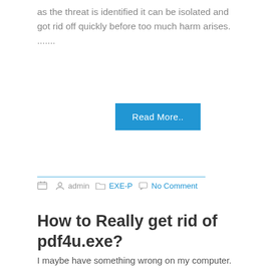as the threat is identified it can be isolated and got rid off quickly before too much harm arises. .......
Read More..
admin  EXE-P  No Comment
How to Really get rid of pdf4u.exe?
I maybe have something wrong on my computer. Now this pdf4u.exe is on my computer. I don't know how to remove this harmful Trojan from my system as I don't get so much computer knowledge. I tried to use some anti-virus softwares to help, but they all failed. Now I think my computer is in a huge